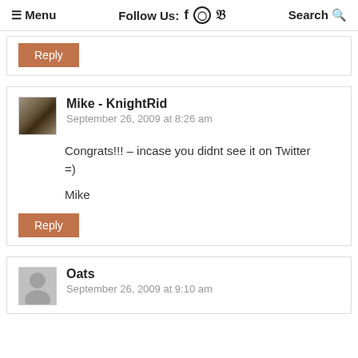≡ Menu   Follow Us: f ⊙ ✓   Search 🔍
Reply
Mike - KnightRid
September 26, 2009 at 8:26 am

Congrats!!! – incase you didnt see it on Twitter =)

Mike
Reply
Oats
September 26, 2009 at 9:10 am